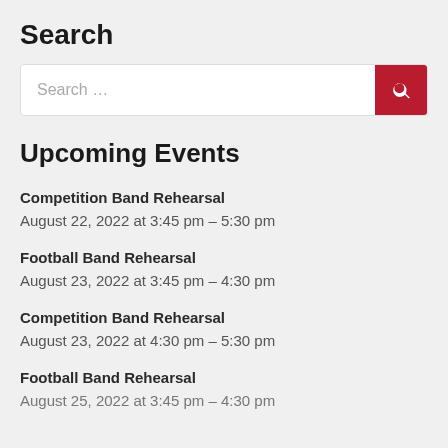Search
Upcoming Events
Competition Band Rehearsal
August 22, 2022 at 3:45 pm – 5:30 pm
Football Band Rehearsal
August 23, 2022 at 3:45 pm – 4:30 pm
Competition Band Rehearsal
August 23, 2022 at 4:30 pm – 5:30 pm
Football Band Rehearsal
August 25, 2022 at 3:45 pm – 4:30 pm